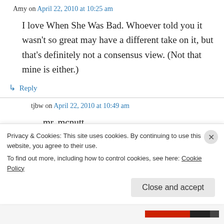Amy on April 22, 2010 at 10:25 am
I love When She Was Bad. Whoever told you it wasn't so great may have a different take on it, but that's definitely not a consensus view. (Not that mine is either.)
↳ Reply
tjbw on April 22, 2010 at 10:49 am
mr. mcnutt,
Privacy & Cookies: This site uses cookies. By continuing to use this website, you agree to their use.
To find out more, including how to control cookies, see here: Cookie Policy
Close and accept